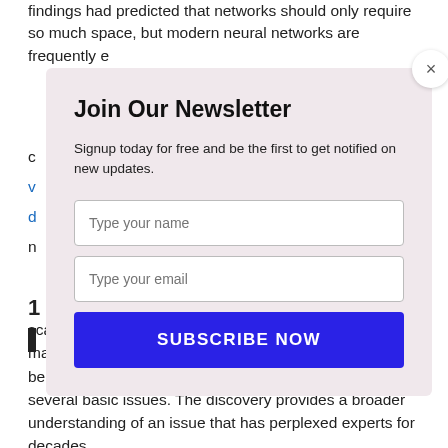findings had predicted that networks should only require so much space, but modern neural networks are frequently e
[Figure (screenshot): Newsletter signup modal overlay with title 'Join Our Newsletter', description text, name and email input fields, and a 'SUBSCRIBE NOW' button. A close (×) button is in the top-right corner.]
scaling problem in a paper presented at NeurIPS, a major conference. They argue that neural networks must be considerably bigger than previously thought to avoid several basic issues. The discovery provides a broader understanding of an issue that has perplexed experts for decades.